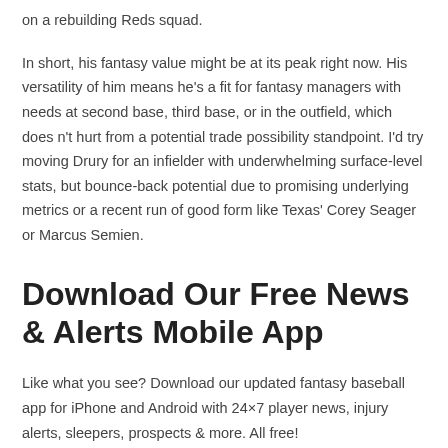on a rebuilding Reds squad.
In short, his fantasy value might be at its peak right now. His versatility of him means he's a fit for fantasy managers with needs at second base, third base, or in the outfield, which does n't hurt from a potential trade possibility standpoint. I'd try moving Drury for an infielder with underwhelming surface-level stats, but bounce-back potential due to promising underlying metrics or a recent run of good form like Texas' Corey Seager or Marcus Semien.
Download Our Free News & Alerts Mobile App
Like what you see? Download our updated fantasy baseball app for iPhone and Android with 24×7 player news, injury alerts, sleepers, prospects & more. All free!